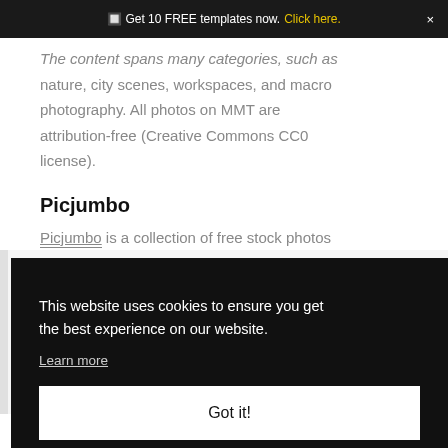🔲 Get 10 FREE templates now. Click here. ×
The content spans many categories, such as nature, city scenes, workspaces, and macro photography. All photos on MMT are attribution-free (Creative Commons CC0 license).
Picjumbo
Picjumbo is a collection of free stock photos
This website uses cookies to ensure you get the best experience on our website. Learn more
Got it!
require attribution.